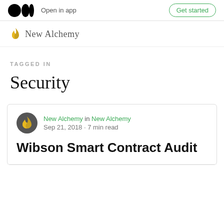Open in app | Get started
[Figure (logo): New Alchemy logo with flame icon and text]
TAGGED IN
Security
New Alchemy in New Alchemy · Sep 21, 2018 · 7 min read · Wibson Smart Contract Audit